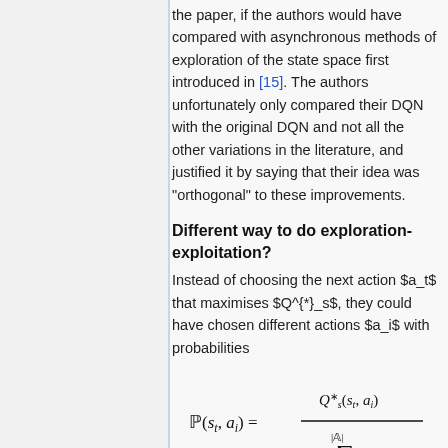the paper, if the authors would have compared with asynchronous methods of exploration of the state space first introduced in [15]. The authors unfortunately only compared their DQN with the original DQN and not all the other variations in the literature, and justified it by saying that their idea was "orthogonal" to these improvements.
Different way to do exploration-exploitation?
Instead of choosing the next action $a_t$ that maximises $Q^*_s$, they could have chosen different actions $a_i$ with probabilities